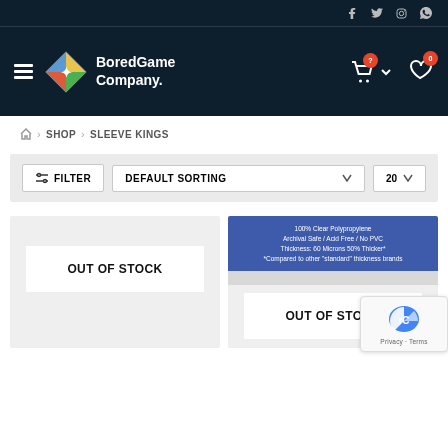Bored Game Company — social icons: Facebook, Twitter, Instagram, WhatsApp
[Figure (logo): Bored Game Company logo with colorful diamond icon and white text on dark background]
SHOP > SLEEVE KINGS
FILTER | DEFAULT SORTING | 20
OUT OF STOCK
100% Clear Polypropylene
Archival Safe / Acid Free / No PVC
Thickness: 60 Microns 50% Thicker*
*Compared to other "standard" thickness brands
OUT OF STOCK